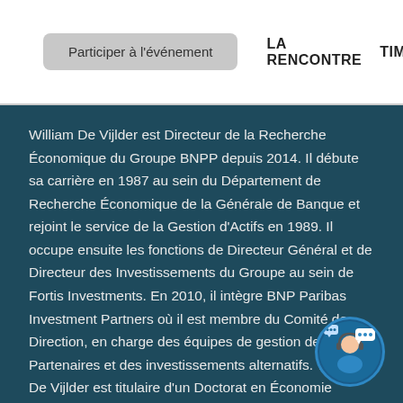Participer à l'événement   LA RENCONTRE   TIMET.
William De Vijlder est Directeur de la Recherche Économique du Groupe BNPP depuis 2014. Il débute sa carrière en 1987 au sein du Département de Recherche Économique de la Générale de Banque et rejoint le service de la Gestion d'Actifs en 1989. Il occupe ensuite les fonctions de Directeur Général et de Directeur des Investissements du Groupe au sein de Fortis Investments. En 2010, il intègre BNP Paribas Investment Partners où il est membre du Comité de Direction, en charge des équipes de gestion des Partenaires et des investissements alternatifs. William De Vijlder est titulaire d'un Doctorat en Économie obtenu à l'Université de Gand (Belgique) où il est maître de conférence depuis 1991. Il est membre du Conseil d'administration du Club du Club du CEPII et également membre du Groupe des Conseillers Économiques auprès du Comité de l'AEMF (Autorité
[Figure (illustration): Circular avatar icon showing a customer service representative with speech bubbles, on dark blue background]